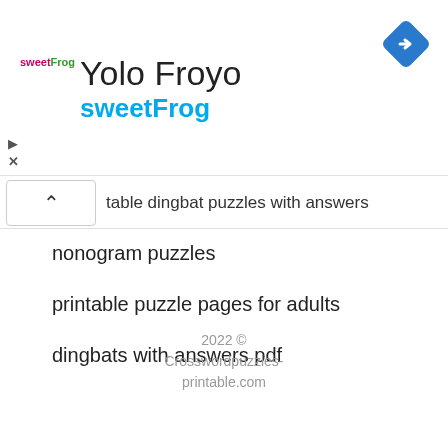[Figure (logo): sweetFrog logo — small text logo with pink and green colors]
Yolo Froyo
sweetFrog
[Figure (other): Blue diamond navigation/turn-right icon in top right corner]
table dingbat puzzles with answers
nonogram puzzles
printable puzzle pages for adults
dingbats with answers pdf
2022 © Crosswordpuzzles-printable.com